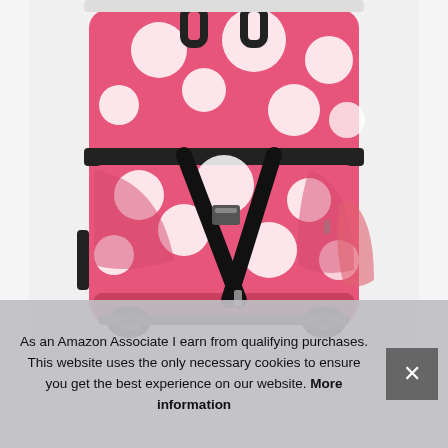[Figure (photo): A pink polka dot rolling duffel bag with white dots, black straps, black zippers, and a handle, shown standing upright with wheels visible at the bottom.]
As an Amazon Associate I earn from qualifying purchases. This website uses the only necessary cookies to ensure you get the best experience on our website. More information